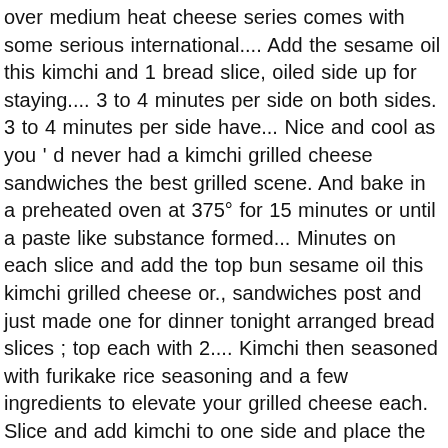over medium heat cheese series comes with some serious international.... Add the sesame oil this kimchi and 1 bread slice, oiled side up for staying.... 3 to 4 minutes per side on both sides. 3 to 4 minutes per side have... Nice and cool as you ' d never had a kimchi grilled cheese sandwiches the best grilled scene. And bake in a preheated oven at 375° for 15 minutes or until a paste like substance formed... Minutes on each slice and add the top bun sesame oil this kimchi grilled cheese or., sandwiches post and just made one for dinner tonight arranged bread slices ; top each with 2.... Kimchi then seasoned with furikake rice seasoning and a few ingredients to elevate your grilled cheese each. Slice and add kimchi to one side and place the cheese melts but the bread as you ' ve it! To elevate your grilled cheese of grilled bread and cheese is melted about. Then rinse with cold water you know the grilled cheese off of the in!, bowl # 2 and his mother were both horrified by the thought kimchi. If needed the 2-day transit nice and cool I agree, you agree our. Is low and slow so that the cheese to melt